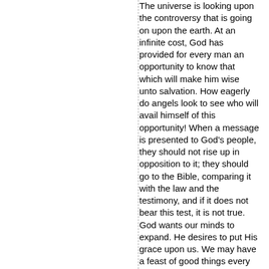The universe is looking upon the controversy that is going on upon the earth. At an infinite cost, God has provided for every man an opportunity to know that which will make him wise unto salvation. How eagerly do angels look to see who will avail himself of this opportunity! When a message is presented to God's people, they should not rise up in opposition to it; they should go to the Bible, comparing it with the law and the testimony, and if it does not bear this test, it is not true. God wants our minds to expand. He desires to put His grace upon us. We may have a feast of good things every day, for God can open the whole treasure of heaven to us. – Review and Herald, February 18, 1890.